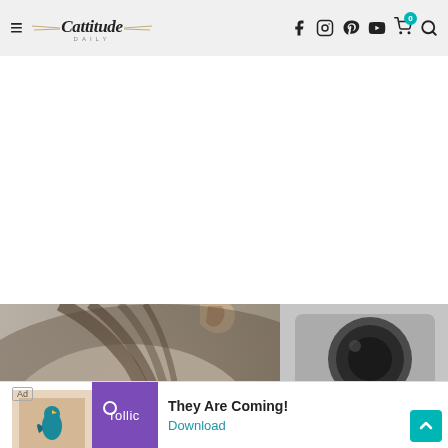Cattitude Daily — navigation header with hamburger menu, logo, and social icons (Facebook, Instagram, Pinterest, YouTube, cart, search)
[Figure (photo): Close-up photo of a tabby cat's head from behind, showing striped fur pattern; a car interior/dashboard is visible in the blurred background to the right]
[Figure (screenshot): Bottom advertisement banner: Ad label, Rollic game icon (purple background), 'They Are Coming!' text, Download link]